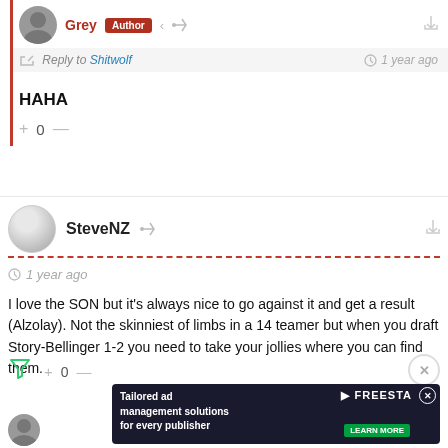Grey Author — Reply to Shitwolf — 1 year ago
HAHA
+ 0 —
SteveNZ — 1 year ago
I love the SON but it's always nice to go against it and get a result (Alzolay). Not the skinniest of limbs in a 14 teamer but when you draft Story-Bellinger 1-2 you need to take your jollies where you can find them.
+ 0 —
[Figure (screenshot): Ad banner: Tailored ad management solutions for every publisher — FREESTA — LEARN MORE]